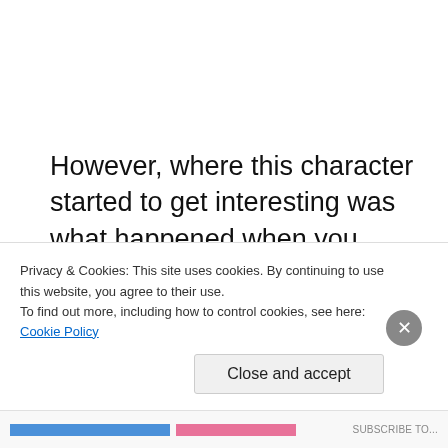However, where this character started to get interesting was what happened when you mixed him with the rest of the party.  Other members had characters that were pretty much “good hero” types, and renegade hero types.  I was a cutthroat merc in it for the
Privacy & Cookies: This site uses cookies. By continuing to use this website, you agree to their use.
To find out more, including how to control cookies, see here: Cookie Policy
Close and accept